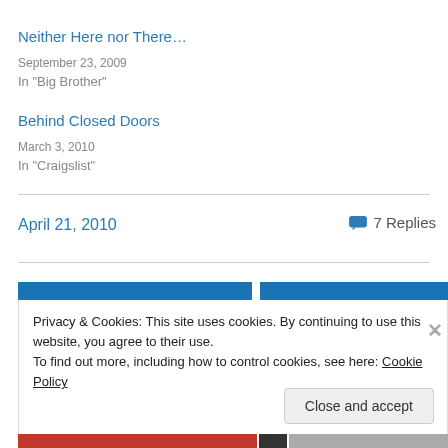Neither Here nor There…
September 23, 2009
In "Big Brother"
Behind Closed Doors
March 3, 2010
In "Craigslist"
April 21, 2010
7 Replies
Privacy & Cookies: This site uses cookies. By continuing to use this website, you agree to their use.
To find out more, including how to control cookies, see here: Cookie Policy
Close and accept